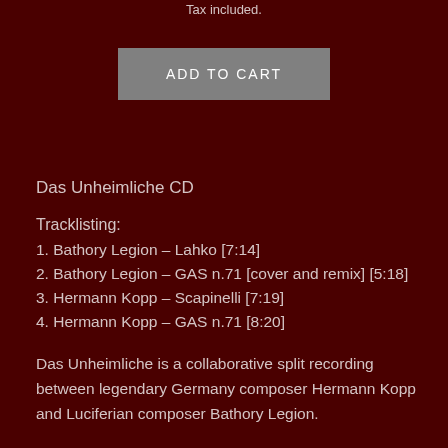Tax included.
ADD TO CART
Das Unheimliche CD
Tracklisting:
1. Bathory Legion – Lahko [7:14]
2. Bathory Legion – GAS n.71 [cover and remix] [5:18]
3. Hermann Kopp – Scapinelli [7:19]
4. Hermann Kopp – GAS n.71 [8:20]
Das Unheimliche is a collaborative split recording between legendary Germany composer Hermann Kopp and Luciferian composer Bathory Legion.